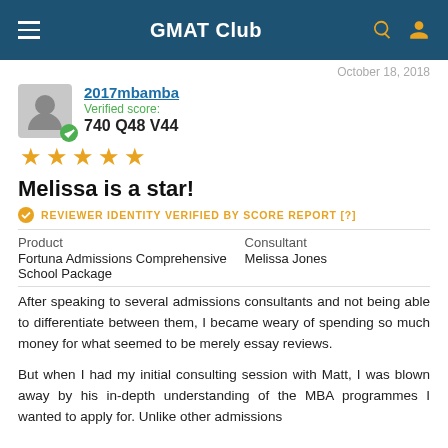GMAT Club
October 18, 2018
2017mbamba
Verified score:
740 Q48 V44
[Figure (other): 5-star rating (orange stars)]
Melissa is a star!
REVIEWER IDENTITY VERIFIED BY SCORE REPORT [?]
| Product | Consultant |
| --- | --- |
| Fortuna Admissions Comprehensive School Package | Melissa Jones |
After speaking to several admissions consultants and not being able to differentiate between them, I became weary of spending so much money for what seemed to be merely essay reviews.

But when I had my initial consulting session with Matt, I was blown away by his in-depth understanding of the MBA programmes I wanted to apply for. Unlike other admissions